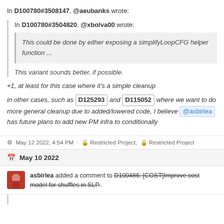In D100780#3508147, @aeubanks wrote:
In D100780#3504820, @xbolva00 wrote:
This could be done by either exposing a simplifyLoopCFG helper function ...
This variant sounds better, if possible.
+1, at least for this case where it’s a simple cleanup
in other cases, such as D125293 and D115052 where we want to do more general cleanup due to added/lowered code, I believe @asbirlea has future plans to add new PM infra to conditionally
May 12 2022, 4:54 PM · Restricted Project, Restricted Project
May 10 2022
asbirlea added a comment to D100486: [COST]Improve cost model for shuffles in SLP..